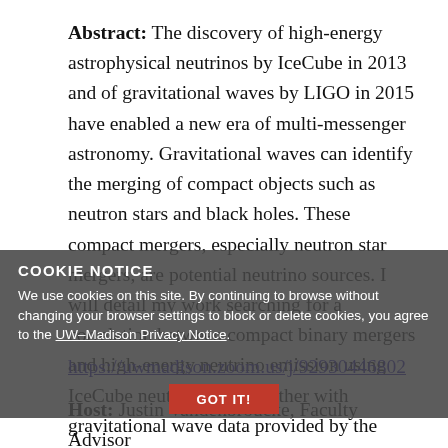Abstract: The discovery of high-energy astrophysical neutrinos by IceCube in 2013 and of gravitational waves by LIGO in 2015 have enabled a new era of multi-messenger astronomy. Gravitational waves can identify the merging of compact objects such as neutron stars and black holes. These compact mergers, especially neutron star mergers, are potential neutrino sources. I will detail my work searching for a correlation between compact binary mergers and high-energy neutrino emission using IceCube neutrino data together with gravitational wave data provided by the LIGO Virgo Collaboration. Zoom Link: https://uwmadison.zoom.us/j/92930446802 Host: Justin Vandenbroucke, Faculty Advisor
COOKIE NOTICE
We use cookies on this site. By continuing to browse without changing your browser settings to block or delete cookies, you agree to the UW–Madison Privacy Notice.
GOT IT!